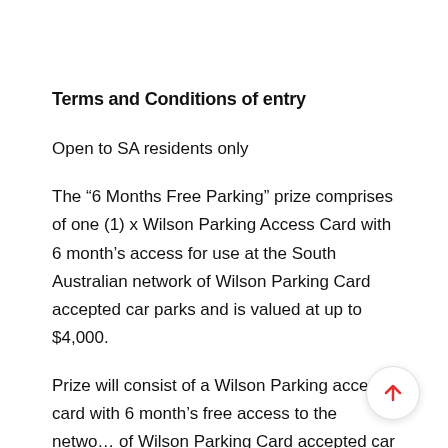Terms and Conditions of entry
Open to SA residents only
The “6 Months Free Parking” prize comprises of one (1) x Wilson Parking Access Card with 6 month’s access for use at the South Australian network of Wilson Parking Card accepted car parks and is valued at up to $4,000.
Prize will consist of a Wilson Parking access card with 6 month’s free access to the network of Wilson Parking Card accepted car parks